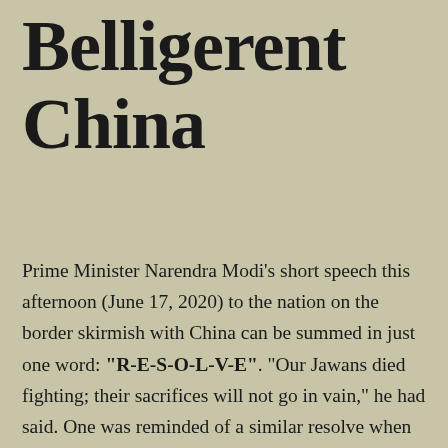Belligerent China
Prime Minister Narendra Modi's short speech this afternoon (June 17, 2020) to the nation on the border skirmish with China can be summed in just one word: "R-E-S-O-L-V-E". "Our Jawans died fighting; their sacrifices will not go in vain," he had said. One was reminded of a similar resolve when he had displayed exactly the same emotion after the Pulwama Terror strike and…